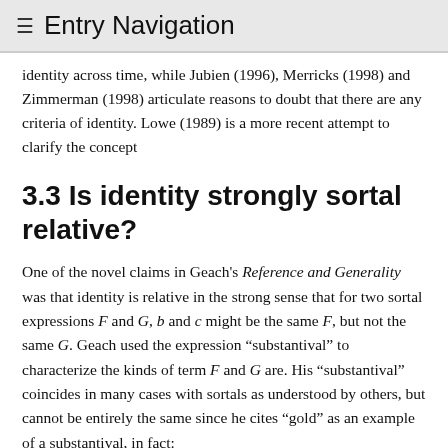≡  Entry Navigation
identity across time, while Jubien (1996), Merricks (1998) and Zimmerman (1998) articulate reasons to doubt that there are any criteria of identity. Lowe (1989) is a more recent attempt to clarify the concept
3.3 Is identity strongly sortal relative?
One of the novel claims in Geach’s Reference and Generality was that identity is relative in the strong sense that for two sortal expressions F and G, b and c might be the same F, but not the same G. Geach used the expression “substantival” to characterize the kinds of term F and G are. His “substantival” coincides in many cases with sortals as understood by others, but cannot be entirely the same since he cites “gold” as an example of a substantival, in fact:
we can speak of the same gold as being first a statue and then a great number of coins, but “How many